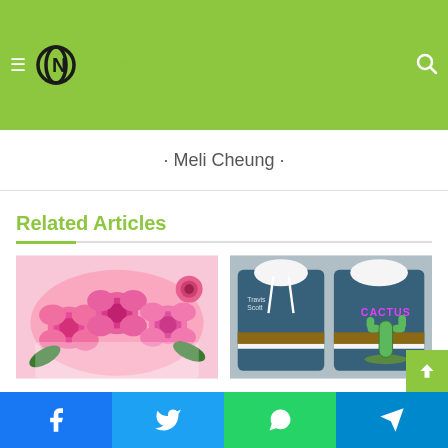CINBlog — Meli Cheung
Related Articles
[Figure (photo): Bouquet of pink roses]
Top 5 most odd anniversary presents for grandparents as ranked by their uniqueness!!!
[Figure (photo): Two dark blue hooded sweatshirts with cactus graphic, Travis Scott merch]
Are Organic T-shirts Good For The Environment? Best Of Travis Scott March